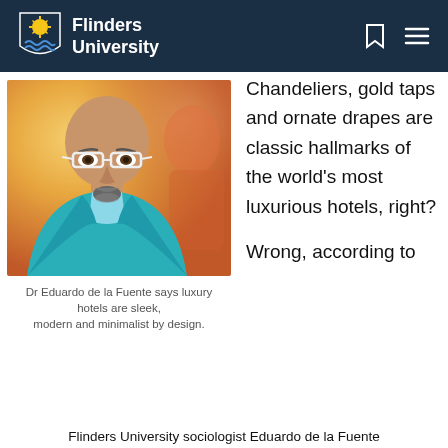Flinders University
[Figure (photo): Portrait photo of Dr Eduardo de la Fuente, a bald man with white rectangular glasses and a goatee, wearing a teal/turquoise jacket over a light blue shirt, photographed against a warm orange-yellow bokeh background.]
Dr Eduardo de la Fuente says luxury hotels are sleek, modern and minimalist by design.
Chandeliers, gold taps and ornate drapes are classic hallmarks of the world's most luxurious hotels, right?
Wrong, according to
Flinders University sociologist Eduardo de la Fuente